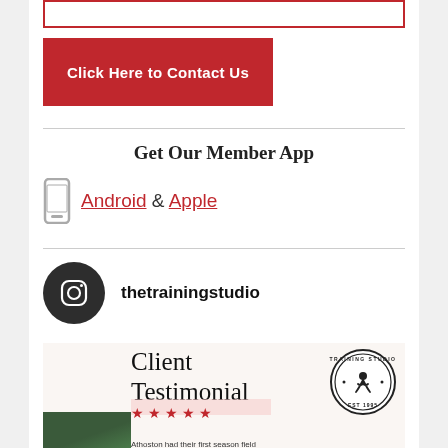[Figure (other): Red outlined rectangle button at top (partially visible), likely a CTA button]
Click Here to Contact Us
Get Our Member App
Android & Apple
thetrainingstudio
[Figure (illustration): Client Testimonial section with script text, Training Studio badge logo, star rating, and photo strip]
Athoston had their first season field